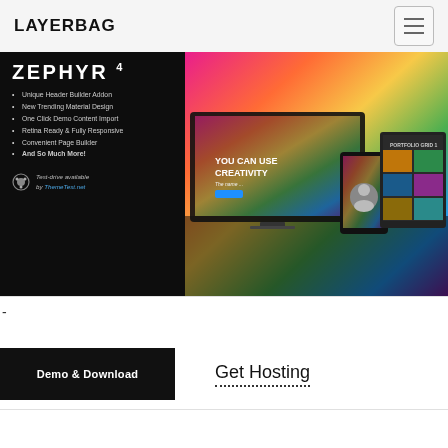LAYERBAG
[Figure (screenshot): Zephyr 4 WordPress theme promotional banner with feature list on dark background and colorful website screenshots on the right]
-
Demo & Download
Get Hosting